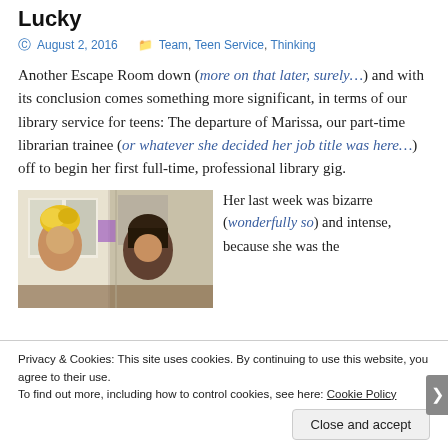Lucky
August 2, 2016   Team, Teen Service, Thinking
Another Escape Room down (more on that later, surely…) and with its conclusion comes something more significant, in terms of our library service for teens: The departure of Marissa, our part-time librarian trainee (or whatever she decided her job title was here…) off to begin her first full-time, professional library gig.
[Figure (photo): Two people with colorful hair (one with a yellow/golden hair piece, one with dark hair) in what appears to be a library setting.]
Her last week was bizarre (wonderfully so) and intense, because she was the
Privacy & Cookies: This site uses cookies. By continuing to use this website, you agree to their use. To find out more, including how to control cookies, see here: Cookie Policy
Close and accept